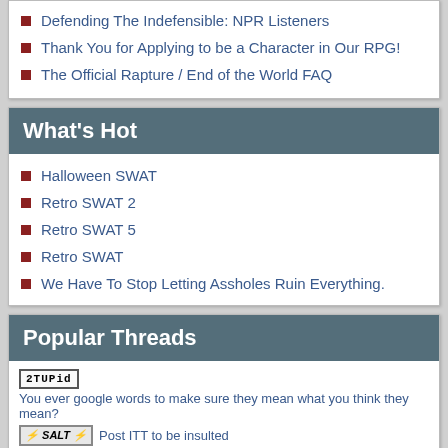Defending The Indefensible: NPR Listeners
Thank You for Applying to be a Character in Our RPG!
The Official Rapture / End of the World FAQ
What's Hot
Halloween SWAT
Retro SWAT 2
Retro SWAT 5
Retro SWAT
We Have To Stop Letting Assholes Ruin Everything.
Popular Threads
You ever google words to make sure they mean what you think they mean?
Post ITT to be insulted
COZ THIS IS MYYYYYYYYYYYYY UNIIIIIITED STATES OF WHATEVAHHHHH
I found free money in an old iTunes account
we found your sick little projects --> REVEAL YOURSELVES PERVERTS <--